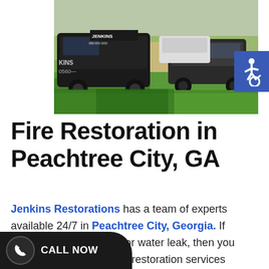[Figure (photo): Jenkins Restorations branded dark vehicles parked in a residential driveway with a green lawn in the foreground and suburban houses in the background.]
Fire Restoration in Peachtree City, GA
Jenkins Restorations has a team of experts available 24/7 in Peachtree City, Georgia. If you've ever had a flood or water leak, then you need some cleaning and restoration services and we are here to help! With experience in water removal, and other restoration services,